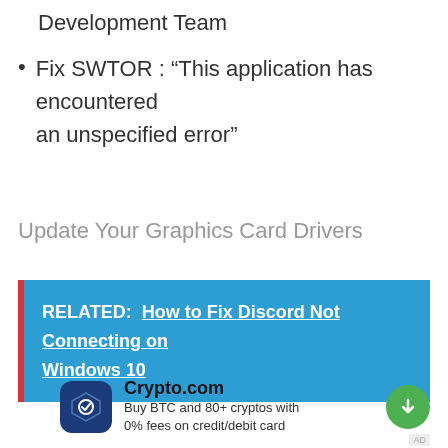Development Team
Fix SWTOR : “This application has encountered an unspecified error”
Update Your Graphics Card Drivers
RELATED:  How to Fix Discord Not Connecting on Windows 10
[Figure (other): Crypto.com advertisement with logo, title, description 'Buy BTC and 80+ cryptos with 0% fees on credit/debit card', and a green download button]